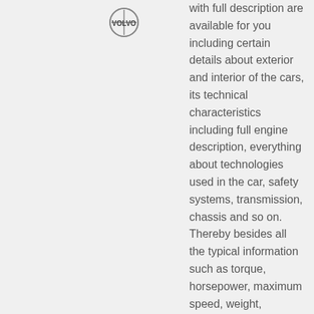[Figure (logo): Volvo circular logo]
with full description are available for you including certain details about exterior and interior of the cars, its technical characteristics including full engine description, everything about technologies used in the car, safety systems, transmission, chassis and so on. Thereby besides all the typical information such as torque, horsepower, maximum speed, weight, dimensions and other characteristics like the mentioned you are able to get familiar with some really interesting and unique facts. Sure, you can track change Camry body style by years since it is the most popular thing to do, but also you can look at the entire Ford Aspire Hatchback model history, enjoy reading exhaustive descriptions intelligible and